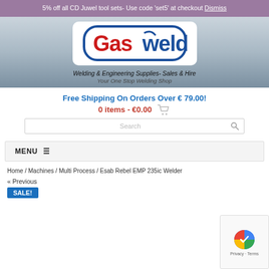5% off all CD Juwel tool sets- Use code 'set5' at checkout Dismiss
[Figure (logo): Gasweld logo with blue rounded-rectangle border, red 'Gas' text and blue 'weld' text with a welding arc graphic]
Welding & Engineering Supplies- Sales & Hire
Your One Stop Welding Shop
Free Shipping On Orders Over € 79.00!
0 items - €0.00
Search
MENU
Home / Machines / Multi Process / Esab Rebel EMP 235ic Welder
« Previous
SALE!